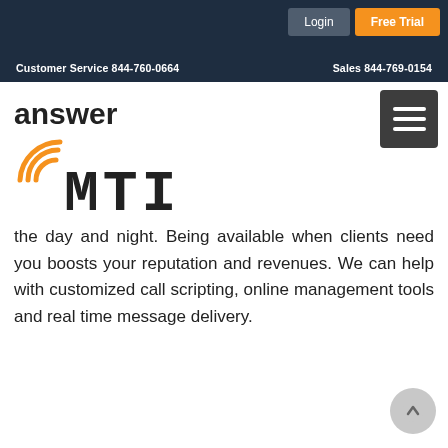Customer Service 844-760-0664    Sales 844-769-0154
[Figure (logo): Answer MTI logo with orange signal/wifi arc graphic and bold MTI text in typewriter font]
the day and night. Being available when clients need you boosts your reputation and revenues. We can help with customized call scripting, online management tools and real time message delivery.